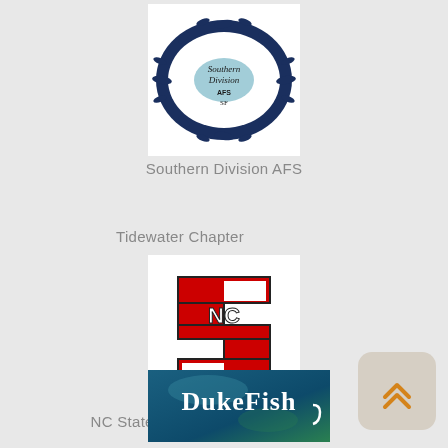[Figure (logo): Southern Division AFS circular logo with fish border and state map in center]
Southern Division AFS
Tidewater Chapter
[Figure (logo): NC State University block S logo in red with NC letters]
NC State Student Subunit
[Figure (logo): Duke Fish banner with blue underwater background and white text]
Duke University Student Subunit